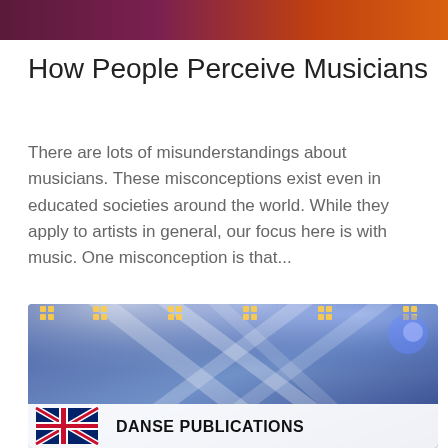[Figure (illustration): Gradient banner at top of page, transitioning from dark purple/maroon on the left to orange on the right]
How People Perceive Musicians
There are lots of misunderstandings about musicians. These misconceptions exist even in educated societies around the world. While they apply to artists in general, our focus here is with music. One misconception is that...
[Figure (photo): Concert stage with dramatic blue and white spotlight beams crossing against a dark background, with rows of stage lights visible at the top. At the bottom, a UK flag (Union Jack) is shown on the left and bold text reading 'DANSE PUBLICATIONS' on the right on a white/light background strip.]